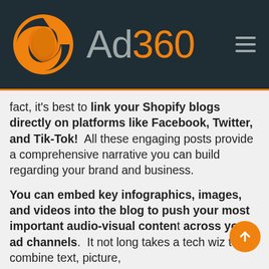[Figure (logo): Ad360 logo: orange circular icon with wing/swirl design, followed by brand name 'Ad360' in gray and orange on dark background]
fact, it's best to link your Shopify blogs directly on platforms like Facebook, Twitter, and Tik-Tok!  All these engaging posts provide a comprehensive narrative you can build regarding your brand and business.
You can embed key infographics, images, and videos into the blog to push your most important audio-visual content across your ad channels.  It not long takes a tech wiz to combine text, picture,